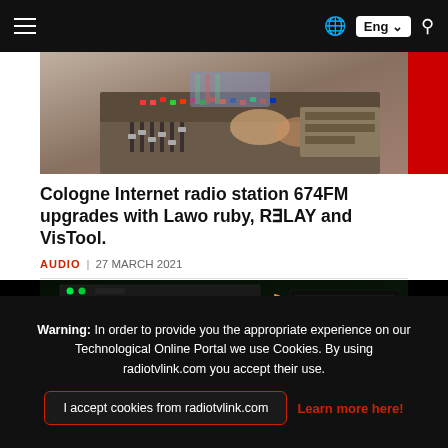Navigation bar with hamburger menu, globe icon, Eng language selector, and search icon
[Figure (photo): Person at radio broadcast mixing console with colorful lit buttons and equipment]
Cologne Internet radio station 674FM upgrades with Lawo ruby, R3LAY and VisTool.
AUDIO | 27 MARCH 2021
[Figure (photo): Server rack equipment with green LED lights, orange and yellow cables in a dark broadcast facility]
Warning: In order to provide you the appropriate experience on our Technological Online Portal we use Cookies. By using radiotvlink.com you accept their use.
I accept cookies from radiotvlink.com
Learn more here!